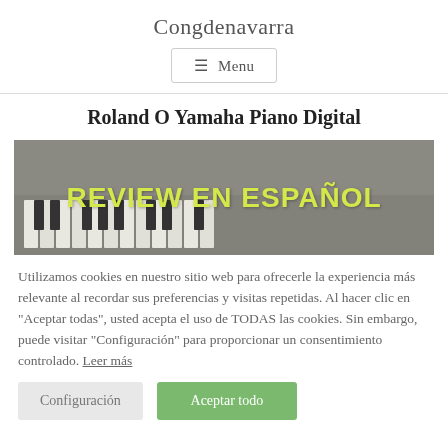Congdenavarra
☰ Menu
Roland O Yamaha Piano Digital
[Figure (photo): A digital piano keyboard photographed from above with grey overlay and yellow text reading 'REVIEW EN ESPAÑOL']
Utilizamos cookies en nuestro sitio web para ofrecerle la experiencia más relevante al recordar sus preferencias y visitas repetidas. Al hacer clic en "Aceptar todas", usted acepta el uso de TODAS las cookies. Sin embargo, puede visitar "Configuración" para proporcionar un consentimiento controlado. Leer más
Configuración
Aceptar todo